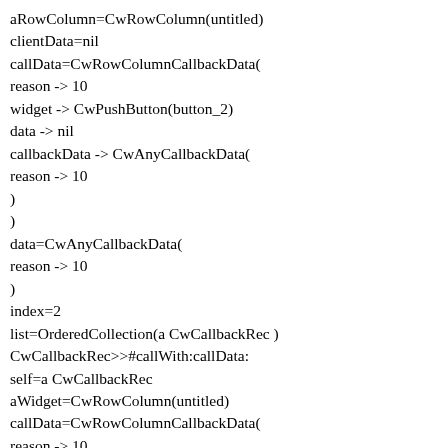aRowColumn=CwRowColumn(untitled)
clientData=nil
callData=CwRowColumnCallbackData(
reason -> 10
widget -> CwPushButton(button_2)
data -> nil
callbackData -> CwAnyCallbackData(
reason -> 10
)
)
data=CwAnyCallbackData(
reason -> 10
)
index=2
list=OrderedCollection(a CwCallbackRec )
CwCallbackRec>>#callWith:callData:
self=a CwCallbackRec
aWidget=CwRowColumn(untitled)
callData=CwRowColumnCallbackData(
reason -> 10
widget -> CwPushButton(button_2)
data -> nil
callbackData -> CwAnyCallbackData(
reason -> 10
)